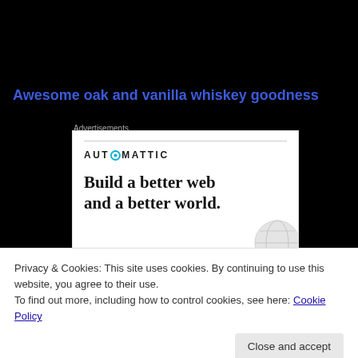Awesome oak and vanilla whiskey goodness
Advertisements
[Figure (logo): Automattic advertisement with logo and tagline 'Build a better web and a better world.']
Privacy & Cookies: This site uses cookies. By continuing to use this website, you agree to their use.
To find out more, including how to control cookies, see here: Cookie Policy
Close and accept